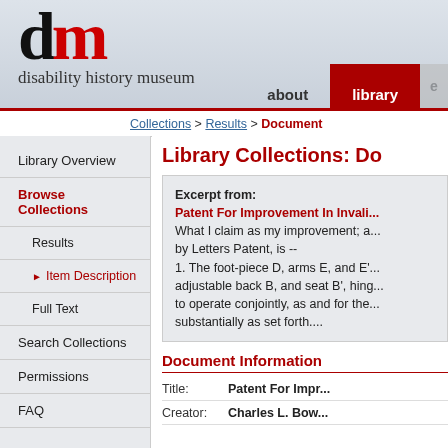dm disability history museum | about | library
Collections > Results > Document
Library Collections: Document
Library Overview
Browse Collections
Results
Item Description
Full Text
Search Collections
Permissions
FAQ
Reference Tools
Excerpt from:
Patent For Improvement In Invali...
What I claim as my improvement; a... by Letters Patent, is --
1. The foot-piece D, arms E, and E'... adjustable back B, and seat B', hing... to operate conjointly, as and for the... substantially as set forth....
Document Information
| Field | Value |
| --- | --- |
| Title: | Patent For Impr... |
| Creator: | Charles L. Bow... |